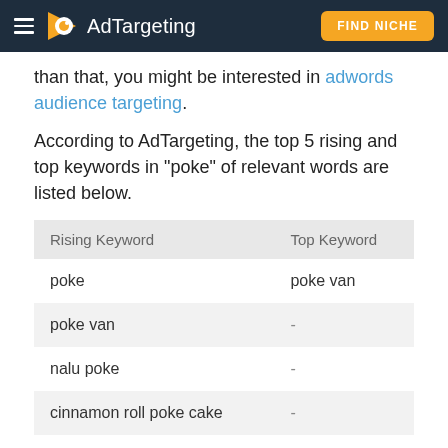AdTargeting | FIND NICHE
than that, you might be interested in adwords audience targeting.
According to AdTargeting, the top 5 rising and top keywords in "poke" of relevant words are listed below.
| Rising Keyword | Top Keyword |
| --- | --- |
| poke | poke van |
| poke van | - |
| nalu poke | - |
| cinnamon roll poke cake | - |
| leid poke | - |